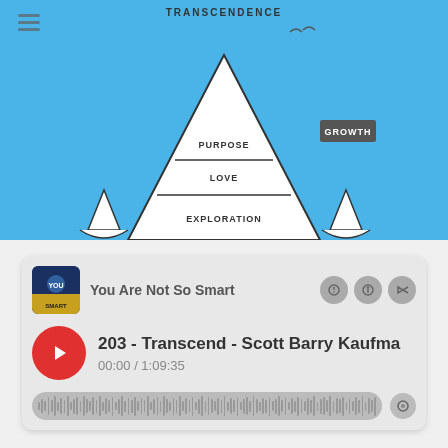[Figure (infographic): Maslow's hierarchy of needs reimagined as a sailboat on blue background. Top section labeled TRANSCENDENCE at the apex. Triangle sail labeled GROWTH with layers: PURPOSE, LOVE, EXPLORATION. Bowl-shaped hull with layers: SELF-ESTEEM, CONNECTION, SAFETY. Section labeled SECURITY at the bottom. Smaller triangular sails on left and right sides. Bird silhouettes at top right.]
You Are Not So Smart
203 - Transcend - Scott Barry Kaufma
00:00 / 1:09:35